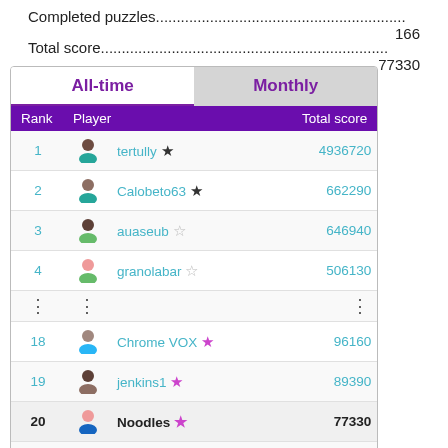Completed puzzles....................................................166
Total score..........................................................77330
| Rank | Player | Total score |
| --- | --- | --- |
| 1 | tertully ★ | 4936720 |
| 2 | Calobeto63 ★ | 662290 |
| 3 | auaseub ☆ | 646940 |
| 4 | granolabar ☆ | 506130 |
| ⋮ | ⋮ | ⋮ |
| 18 | Chrome VOX ★ | 96160 |
| 19 | jenkins1 ★ | 89390 |
| 20 | Noodles ★ | 77330 |
| 21 | Foxwire ★ | 73810 |